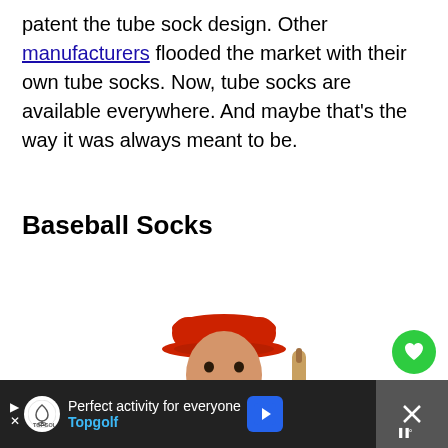patent the tube sock design. Other manufacturers flooded the market with their own tube socks. Now, tube socks are available everywhere. And maybe that's the way it was always meant to be.
Baseball Socks
[Figure (photo): Young male baseball player wearing red uniform and cap, holding a bat over his shoulder, smiling at camera, white background]
[Figure (infographic): Green circular heart/favorite button and white circular share button on right side of screen]
[Figure (infographic): Dark advertisement bar at bottom: Topgolf ad with text 'Perfect activity for everyone' and 'Topgolf', blue arrow icon, close button with X and sound icon]